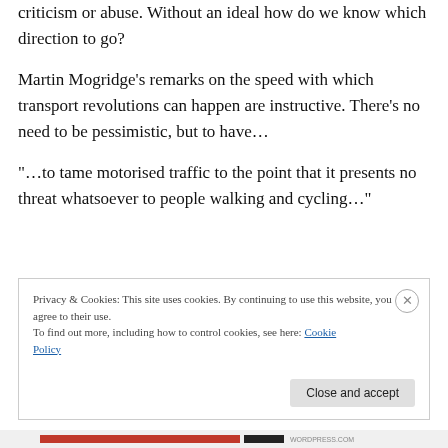criticism or abuse. Without an ideal how do we know which direction to go?
Martin Mogridge’s remarks on the speed with which transport revolutions can happen are instructive. There’s no need to be pessimistic, but to have…
“…to tame motorised traffic to the point that it presents no threat whatsoever to people walking and cycling…”
Privacy & Cookies: This site uses cookies. By continuing to use this website, you agree to their use.
To find out more, including how to control cookies, see here: Cookie Policy